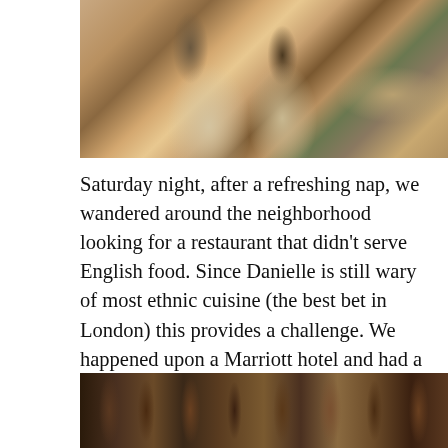[Figure (photo): Two people holding wine glasses at a table, toasting or examining red wine]
Saturday night, after a refreshing nap, we wandered around the neighborhood looking for a restaurant that didn't serve English food. Since Danielle is still wary of most ethnic cuisine (the best bet in London) this provides a challenge. We happened upon a Marriott hotel and had a delightful meal of broiled scallops, pasta and salmon,  and a mediocre Australian Cabernet by Wynn's (a good producer).
[Figure (photo): Wine bottles displayed on a table or shelf]